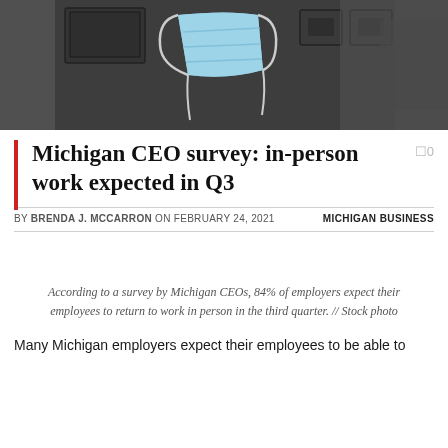[Figure (photo): A face mask hanging on what appears to be a dark jacket or bag, stock photo]
Michigan CEO survey: in-person work expected in Q3
BY BRENDA J. MCCARRON ON FEBRUARY 24, 2021    MICHIGAN BUSINESS
According to a survey by Michigan CEOs, 84% of employers expect their employees to return to work in person in the third quarter. // Stock photo
Many Michigan employers expect their employees to be able to